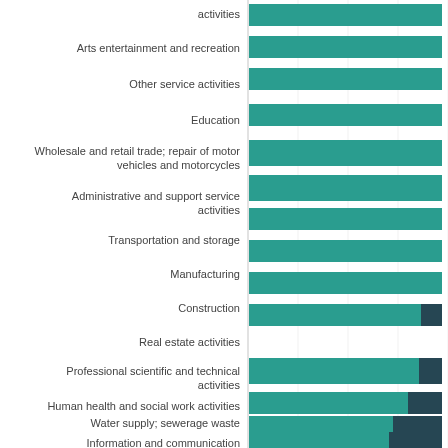[Figure (stacked-bar-chart): Industry sectors horizontal bar chart]